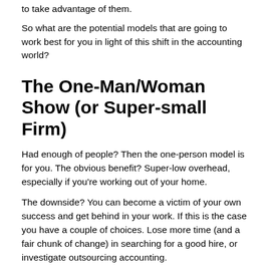to take advantage of them.
So what are the potential models that are going to work best for you in light of this shift in the accounting world?
The One-Man/Woman Show (or Super-small Firm)
Had enough of people? Then the one-person model is for you. The obvious benefit? Super-low overhead, especially if you're working out of your home.
The downside? You can become a victim of your own success and get behind in your work. If this is the case you have a couple of choices. Lose more time (and a fair chunk of change) in searching for a good hire, or investigate outsourcing accounting.
Outsourcing is the simpler and far less expensive